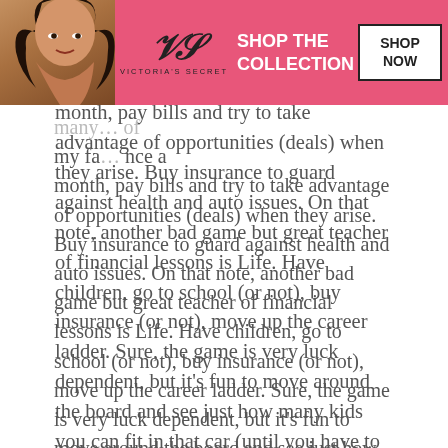[Figure (advertisement): Victoria's Secret banner advertisement at the top of the page showing a model, VS logo, 'SHOP THE COLLECTION' text, and 'SHOP NOW' button on pink background]
many... of my fa... nce a month, pay bills and try to take advantage of opportunities (deals) when they arise. Buy insurance to guard against health and auto issues. On that note, another bad game but great teacher of financial lessons is Life. Have children, go to school (or not), buy insurance (or not), move up the career ladder. Sure, the game is very luck dependent, but it's fun to move around the board and see just how many kids you can fit in that car (until you have to feed them….).
By age 12 kids will be able to grasp games that are better simulations, such as Agricola, Power Grid and Puerto Rico. They may not teach a child a ton about money today, but they do give kids a leg u... analy...
[Figure (advertisement): Victoria's Secret banner advertisement at the bottom of the page showing a model, VS logo, 'SHOP THE COLLECTION' text, and 'SHOP NOW' button on pink background, with a 'CLOSE' button overlay]